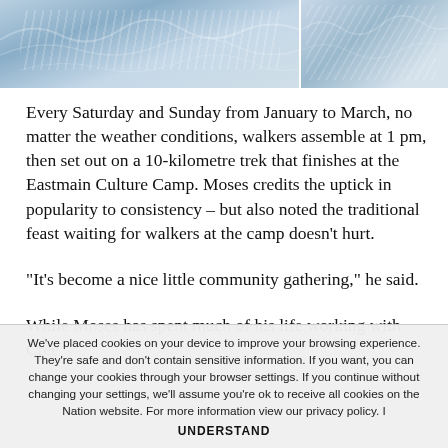[Figure (photo): Aerial or mountain snow/ice landscape photo split into two panels]
Every Saturday and Sunday from January to March, no matter the weather conditions, walkers assemble at 1 pm, then set out on a 10-kilometre trek that finishes at the Eastmain Culture Camp. Moses credits the uptick in popularity to consistency – but also noted the traditional feast waiting for walkers at the camp doesn't hurt.
“It’s become a nice little community gathering,” he said.
While Moses has spent much of his life working with Cree
We've placed cookies on your device to improve your browsing experience. They're safe and don't contain sensitive information. If you want, you can change your cookies through your browser settings. If you continue without changing your settings, we'll assume you're ok to receive all cookies on the Nation website. For more information view our privacy policy. I UNDERSTAND